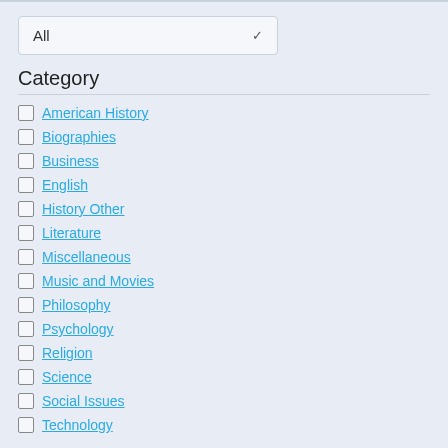All
Category
American History
Biographies
Business
English
History Other
Literature
Miscellaneous
Music and Movies
Philosophy
Psychology
Religion
Science
Social Issues
Technology